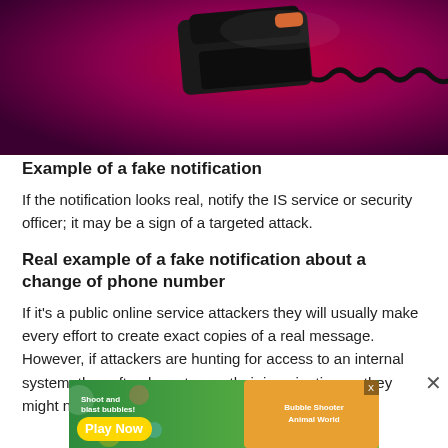[Figure (photo): A black telephone handset with coiled cord on a dark red/magenta background, partially visible at top of page]
Example of a fake notification
If the notification looks real, notify the IS service or security officer; it may be a sign of a targeted attack.
Real example of a fake notification about a change of phone number
If it's a public online service attackers they will usually make every effort to create exact copies of a real message. However, if attackers are hunting for access to an internal system, they often have to use their imagination as they might not know how the
[Figure (screenshot): Advertisement banner: colorful mobile game ad showing 'Shoot and blast bubbles! Play Now' with Bubble Shooter Animal World branding]